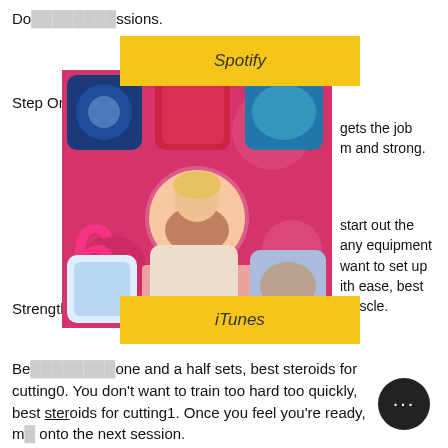Do... sessions.
[Figure (advertisement): Spotify advertisement banner (yellow background, text 'Spotify')]
Step One: Basic body weight cutting
[Figure (advertisement): Franciska's 6th Album 'Vezakeni' Is Now Available! On iTunes, Spotify, YouTube - promotional image with colorful album artwork]
...gets the job ...m and strong.
...start out the ...any equipment ...want to set up ...ith ease, best ...muscle.
Strength training workout
[Figure (advertisement): iTunes advertisement banner (yellow background, text 'iTunes')]
Be... one and a half sets, best steroids for cutting0. You don't want to train too hard too quickly, best steroids for cutting1. Once you feel you're ready, m... onto the next session.